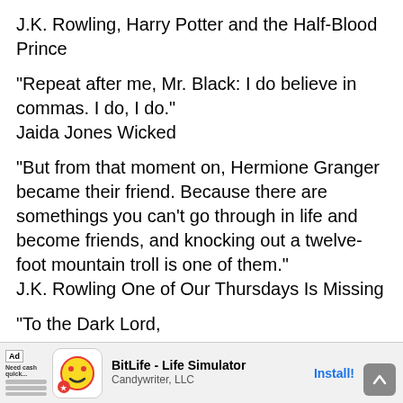J.K. Rowling, Harry Potter and the Half-Blood Prince
“Repeat after me, Mr. Black: I do believe in commas. I do, I do.”
Jaida Jones Wicked
“But from that moment on, Hermione Granger became their friend. Because there are somethings you can’t go through in life and become friends, and knocking out a twelve-foot mountain troll is one of them.”
J.K. Rowling One of Our Thursdays Is Missing
“To the Dark Lord,
...mber of
[Figure (screenshot): Mobile ad banner for BitLife - Life Simulator by Candywriter, LLC with Install button]